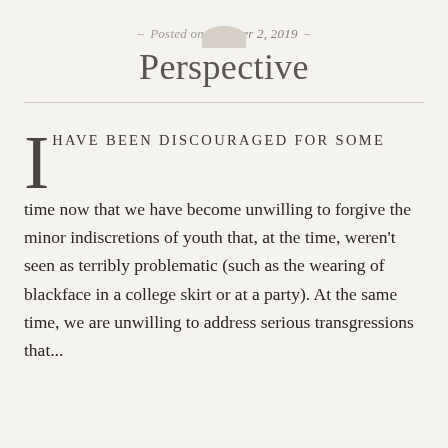Posted on October 2, 2019
Perspective
I HAVE BEEN DISCOURAGED FOR SOME time now that we have become unwilling to forgive the minor indiscretions of youth that, at the time, weren't seen as terribly problematic (such as the wearing of blackface in a college skirt or at a party). At the same time, we are unwilling to address serious transgressions that...